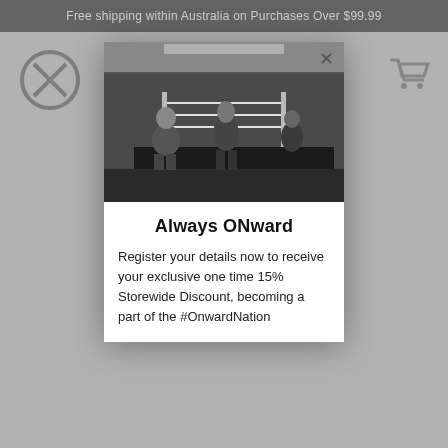Free shipping within Australia on Purchases Over $99.99
[Figure (photo): Black and white photo of two fighters sitting on the edge of a boxing ring in a gym, looking down, with another person in the background on the right.]
Always ONward
Register your details now to receive your exclusive one time 15% Storewide Discount, becoming a part of the #OnwardNation